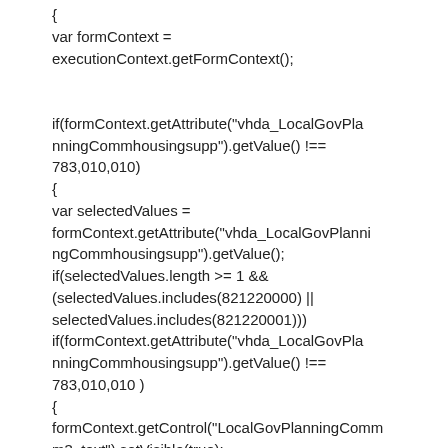{
var formContext = executionContext.getFormContext();


if(formContext.getAttribute("vhda_LocalGovPlanningCommhousingsupp").getValue() !==
783,010,010)
{
var selectedValues =
formContext.getAttribute("vhda_LocalGovPlanningCommhousingsupp").getValue();
if(selectedValues.length >= 1 &&
(selectedValues.includes(821220000) ||
selectedValues.includes(821220001)))
if(formContext.getAttribute("vhda_LocalGovPlanningCommhousingsupp").getValue() !==
783,010,010 )
{
formContext.getControl("LocalGovPlanningComm3_text").setVisible(true);
}
else
{